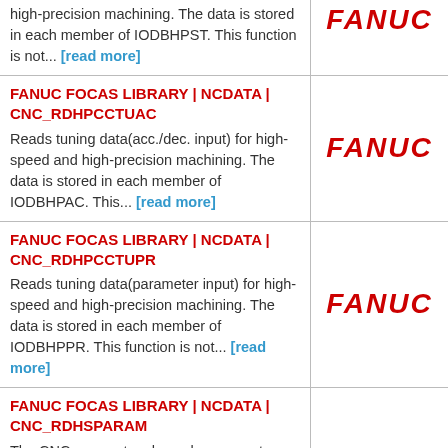high-precision machining. The data is stored in each member of IODBHPST. This function is not... [read more]
[Figure (logo): FANUC logo in red italic bold text]
FANUC FOCAS LIBRARY | NCDATA | CNC_RDHPCCTUAC
Reads tuning data(acc./dec. input) for high-speed and high-precision machining. The data is stored in each member of IODBHPAC. This... [read more]
[Figure (logo): FANUC logo in red italic bold text]
FANUC FOCAS LIBRARY | NCDATA | CNC_RDHPCCTUPR
Reads tuning data(parameter input) for high-speed and high-precision machining. The data is stored in each member of IODBHPPR. This function is not... [read more]
[Figure (logo): FANUC logo in red italic bold text]
FANUC FOCAS LIBRARY | NCDATA | CNC_RDHSPARAM
The CNC parameter shown by parameter...